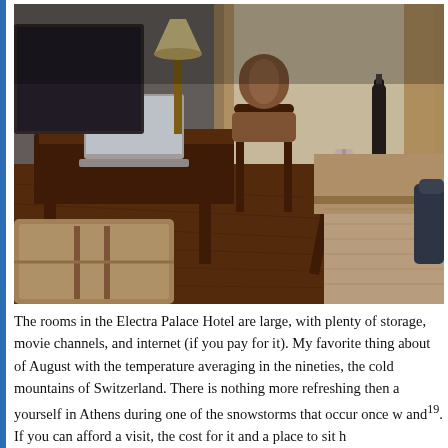[Figure (photo): Interior of the Electra Palace Hotel room showing a wooden desk with a laptop and lamp, a chair, a small round side table with a wine bottle and glasses, hardwood floors, a bed with a beige quilted cover on the right, and curtained windows in the background.]
The rooms in the Electra Palace Hotel are large, with plenty of storage, movie channels, and internet (if you pay for it). My favorite thing about of August with the temperature averaging in the nineties, the cold mountains of Switzerland. There is nothing more refreshing then a yourself in Athens during one of the snowstorms that occur once w... and. If you can afford a visit, the cost for it and a place to sit h...